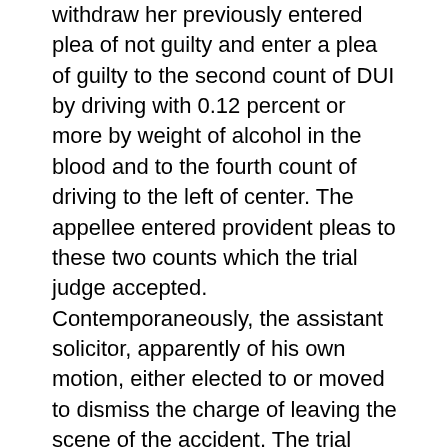withdraw her previously entered plea of not guilty and enter a plea of guilty to the second count of DUI by driving with 0.12 percent or more by weight of alcohol in the blood and to the fourth count of driving to the left of center. The appellee entered provident pleas to these two counts which the trial judge accepted. Contemporaneously, the assistant solicitor, apparently of his own motion, either elected to or moved to dismiss the charge of leaving the scene of the accident. The trial judge pro hac vice accepted the assistant solicitor's election or motion to dismiss, and thereafter made an express finding of fact to that effect in his